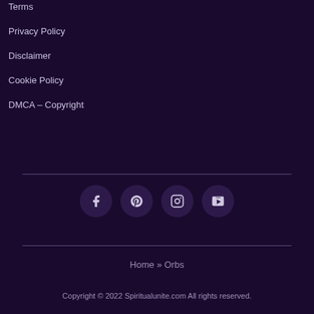Terms
Privacy Policy
Disclaimer
Cookie Policy
DMCA – Copyright
[Figure (other): Four social media icon circles: Facebook, Pinterest, Instagram, YouTube]
Home » Orbs
Copyright © 2022 Spiritualunite.com All rights reserved.